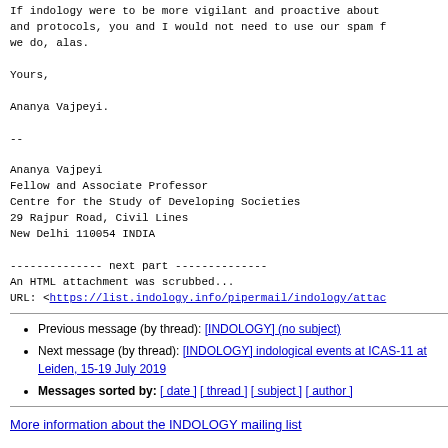If indology were to be more vigilant and proactive about and protocols, you and I would not need to use our spam f we do, alas.

Yours,

Ananya Vajpeyi.

--

Ananya Vajpeyi
Fellow and Associate Professor
Centre for the Study of Developing Societies
29 Rajpur Road, Civil Lines
New Delhi 110054 INDIA
-------------- next part --------------
An HTML attachment was scrubbed...
URL: <https://list.indology.info/pipermail/indology/attac
Previous message (by thread): [INDOLOGY] (no subject)
Next message (by thread): [INDOLOGY] indological events at ICAS-11 at Leiden, 15-19 July 2019
Messages sorted by: [ date ] [ thread ] [ subject ] [ author ]
More information about the INDOLOGY mailing list